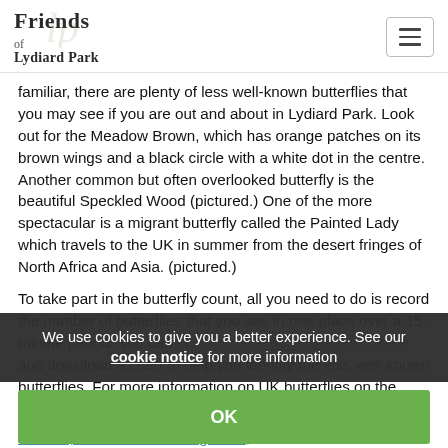Friends of Lydiard Park
familiar, there are plenty of less well-known butterflies that you may see if you are out and about in Lydiard Park. Look out for the Meadow Brown, which has orange patches on its brown wings and a black circle with a white dot in the centre. Another common but often overlooked butterfly is the beautiful Speckled Wood (pictured.) One of the more spectacular is a migrant butterfly called the Painted Lady which travels to the UK in summer from the desert fringes of North Africa and Asia. (pictured.)
To take part in the butterfly count, all you need to do is record the number of butterflies that you see in one place over a 15-minute period. You can find out more about the count here and download a chart to help you identify the less well-known butterflies. For more information on UK butterflies on the Butterfly Conservation website.
St John, 6th Viscount Bolingbroke, to discover his interest in natural history and more about butterflies at Lydiard Park.
We use cookies to give you a better experience. See our cookie notice for more information
OK